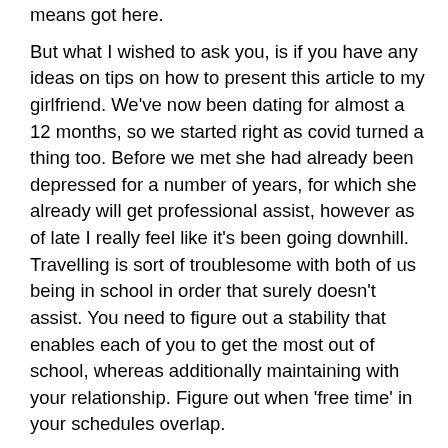means got here.
But what I wished to ask you, is if you have any ideas on tips on how to present this article to my girlfriend. We've now been dating for almost a 12 months, so we started right as covid turned a thing too. Before we met she had already been depressed for a number of years, for which she already will get professional assist, however as of late I really feel like it's been going downhill. Travelling is sort of troublesome with both of us being in school in order that surely doesn't assist. You need to figure out a stability that enables each of you to get the most out of school, whereas additionally maintaining with your relationship. Figure out when 'free time' in your schedules overlap.
She's 25 and engaged to a man that's virtually 15 years older than her. At first she was actually happy and everything mennation review was fine despite the fact that our mom didn't quite like he age hole myear sister was head over heels.